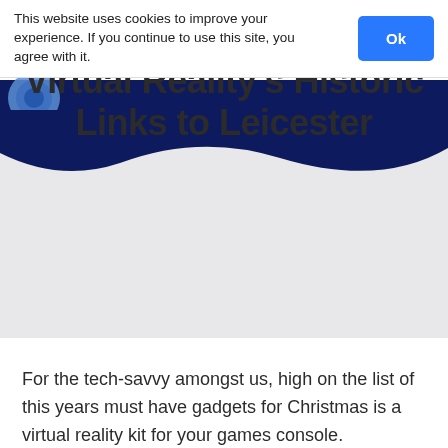This website uses cookies to improve your experience. If you continue to use this site, you agree with it.
Ok
[Figure (other): Dark navy website navigation bar with partial logo (circular icon, partially visible)]
[Figure (illustration): Dark navy wave shape on light grey background forming the hero section backdrop]
Virtual Reality’s Historic Links to Leicester
For the tech-savvy amongst us, high on the list of this years must have gadgets for Christmas is a virtual reality kit for your games console.
They offer you a chance to immerse yourself